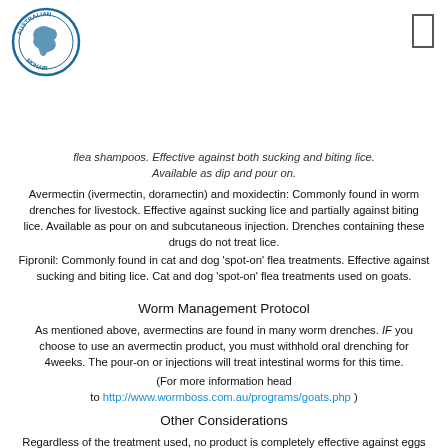[Figure (logo): Australian Mohair circular logo with map of Australia and text around the border]
flea shampoos. Effective against both sucking and biting lice. Available as dip and pour on.
Avermectin (ivermectin, doramectin) and moxidectin: Commonly found in worm drenches for livestock. Effective against sucking lice and partially against biting lice. Available as pour on and subcutaneous injection. Drenches containing these drugs do not treat lice.
Fipronil: Commonly found in cat and dog 'spot-on' flea treatments. Effective against sucking and biting lice. Cat and dog 'spot-on' flea treatments used on goats.
Worm Management Protocol
As mentioned above, avermectins are found in many worm drenches. IF you choose to use an avermectin product, you must withhold oral drenching for 4weeks. The pour-on or injections will treat intestinal worms for this time.
(For more information head to http://www.wormboss.com.au/programs/goats.php )
Other Considerations
Regardless of the treatment used, no product is completely effective against eggs and nits. For this reason, repeat treatment in 10-